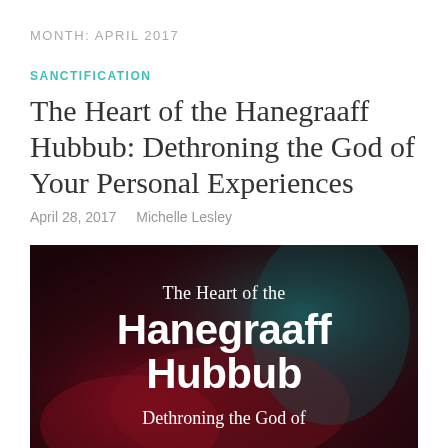MONTH: APRIL 2017
SANCTIFICATION
The Heart of the Hanegraaff Hubbub: Dethroning the God of Your Personal Experiences
April 28, 2017   Michelle Lesley
[Figure (photo): Dark red/teal background image of hands holding something glowing, with overlaid text reading: 'The Heart of the Hanegraaff Hubbub — Dethroning the God of']